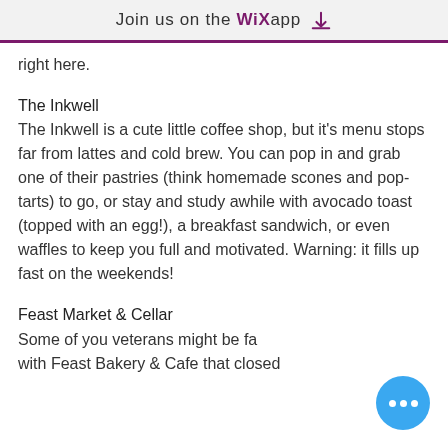Join us on the WiX app ⬇
right here.
The Inkwell
The Inkwell is a cute little coffee shop, but it's menu stops far from lattes and cold brew. You can pop in and grab one of their pastries (think homemade scones and pop-tarts) to go, or stay and study awhile with avocado toast (topped with an egg!), a breakfast sandwich, or even waffles to keep you full and motivated. Warning: it fills up fast on the weekends!
Feast Market & Cellar
Some of you veterans might be familiar with Feast Bakery & Cafe that closed